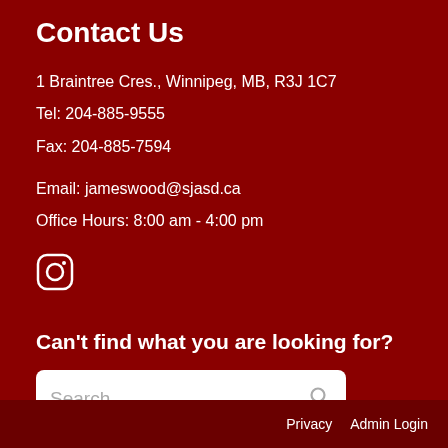Contact Us
1 Braintree Cres., Winnipeg, MB, R3J 1C7
Tel: 204-885-9555
Fax: 204-885-7594
Email: jameswood@sjasd.ca
Office Hours: 8:00 am - 4:00 pm
[Figure (logo): Instagram icon (circle with camera outline)]
Can't find what you are looking for?
Search...
Privacy   Admin Login